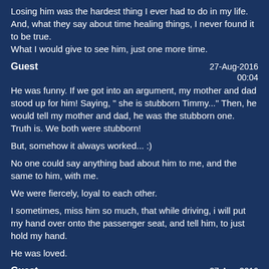Losing him was the hardest thing I ever had to do in my life. And, what they say about time healing things, I never found it to be true.
What I would give to see him, just one more time.
Guest
27-Aug-2016
00:04
He was funny. If we got into an argument, my mother and dad stood up for him! Saying, " she is stubborn Timmy..." Then, he would tell my mother and dad, he was the stubborn one.
Truth is. We both were stubborn!

But, somehow it always worked... :)

No one could say anything bad about him to me, and the same to him, with me.

We were fiercely, loyal to each other.

I sometimes, miss him so much, that while driving, i will put my hand over onto the passenger seat, and tell him, to just hold my hand.

He was loved.
Guest
27-Aug-2016
00:00
And he is loved and missed every single day of our lives.